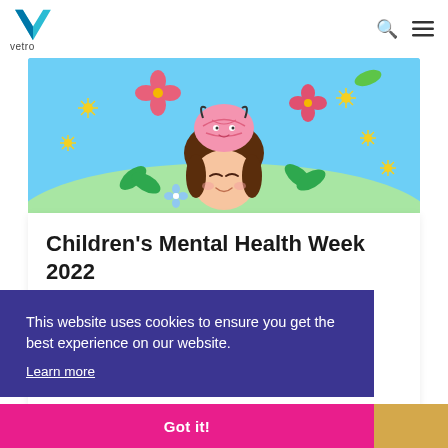vetro
[Figure (illustration): Cartoon illustration of a girl with a smiling pink brain on top of her head, surrounded by colorful flowers and leaves on a light blue background for Children's Mental Health Week 2022]
Children's Mental Health Week 2022
This website uses cookies to ensure you get the best experience on our website.
Learn more
Got it!